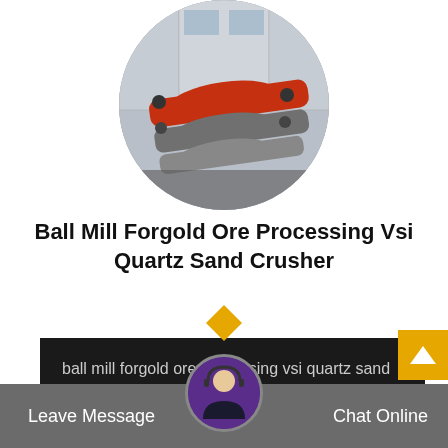[Figure (photo): Circular cropped photo of industrial ball mill equipment with large orange/red cylindrical tubes in a factory setting]
Ball Mill Forgold Ore Processing Vsi Quartz Sand Crusher
ball mill forgold ore processing vsi quartz sand crusher ore ball mill for gold ore processing vsi quartz sand crusher ore . Due to the increasin…
Leave Message | Chat Online